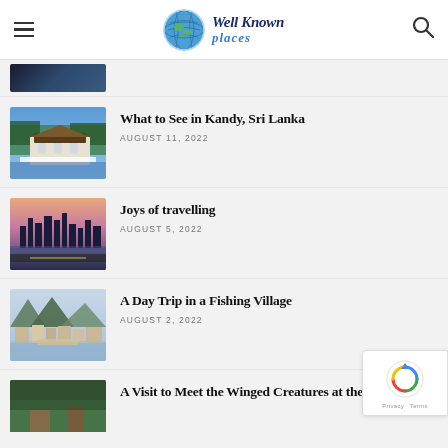Well Known places
[Figure (photo): Thumbnail of dark scenic image (partially visible at top)]
[Figure (photo): Temple of the Tooth Relic in Kandy, Sri Lanka - white colonial building with dark roof by a lake]
What to See in Kandy, Sri Lanka
AUGUST 11, 2022
[Figure (photo): City skyline at dusk reflected on water with pink/purple sky]
Joys of travelling
AUGUST 5, 2022
[Figure (photo): Fishing village with stilted houses and mountains in background]
A Day Trip in a Fishing Village
AUGUST 2, 2022
[Figure (photo): Partially visible thumbnail of green/forested area]
A Visit to Meet the Winged Creatures at the